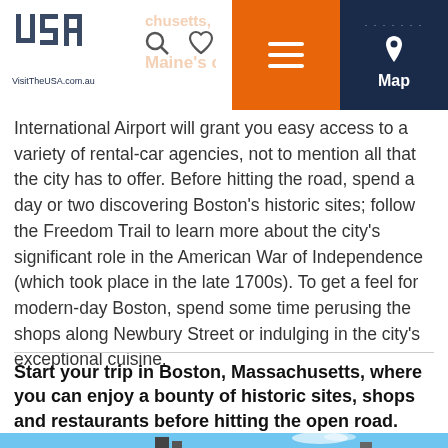VisitTheUSA.com.au — Boston, Massachusetts, makes a great starting point for exploring Maine's coast: Flying Into Boston
International Airport will grant you easy access to a variety of rental-car agencies, not to mention all that the city has to offer. Before hitting the road, spend a day or two discovering Boston's historic sites; follow the Freedom Trail to learn more about the city's significant role in the American War of Independence (which took place in the late 1700s). To get a feel for modern-day Boston, spend some time perusing the shops along Newbury Street or indulging in the city's exceptional cuisine.
Start your trip in Boston, Massachusetts, where you can enjoy a bounty of historic sites, shops and restaurants before hitting the open road.
[Figure (photo): Blue sky with white clouds and Boston city buildings silhouetted at bottom]